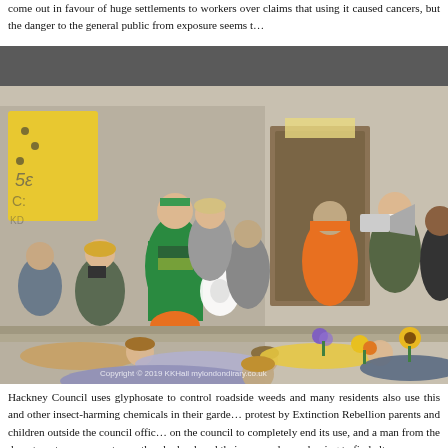come out in favour of huge settlements to workers over claims that using it caused cancers, but the danger to the general public from exposure seems t…
[Figure (photo): A protest scene outside a council building. People standing on steps with banners and a megaphone, including a woman in a bee costume with green outfit and flower prop, a man in an orange tracksuit, a man in a suit speaking into a megaphone. In the foreground, protesters are lying on the ground in a 'die-in' style demonstration with flowers placed around them. A yellow sign with bee imagery is visible on the left.]
Hackney Council uses glyphosate to control roadside weeds and many residents also use this and other insect-harming chemicals in their gardens. A protest by Extinction Rebellion parents and children outside the council offices on the council to completely end its use, and a man from the department came to say they had reduced their use, and were hoping to find alt…